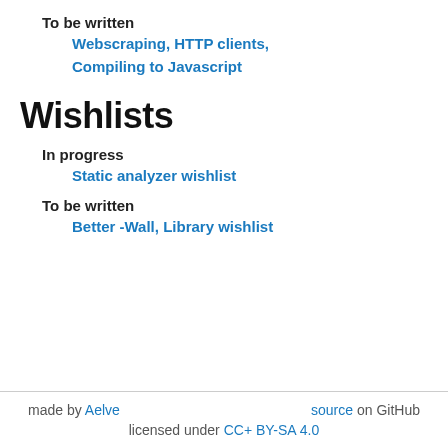To be written
Webscraping, HTTP clients, Compiling to Javascript
Wishlists
In progress
Static analyzer wishlist
To be written
Better -Wall, Library wishlist
made by Aelve  source on GitHub  licensed under CC+ BY-SA 4.0